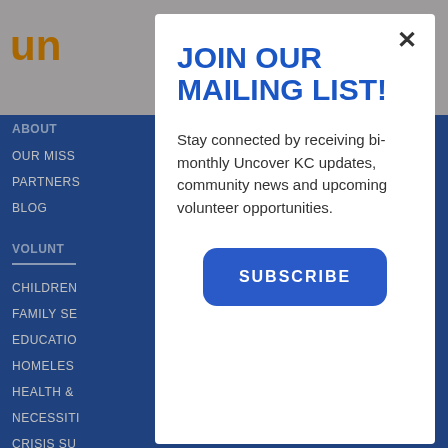[Figure (screenshot): Website background showing navigation menu with blue background. Logo 'un' visible top-left in orange, hamburger menu icon top-right. Navigation items: ABOUT, OUR MISS, PARTNERS, BLOG, VOLUNT, CHILDREN, FAMILY SE, EDUCATIO, HOMELES, HEALTH &, NECESSITI, CRISIS SU, HUNGER (18)]
JOIN OUR MAILING LIST!
Stay connected by receiving bi-monthly Uncover KC updates, community news and upcoming volunteer opportunities.
SUBSCRIBE